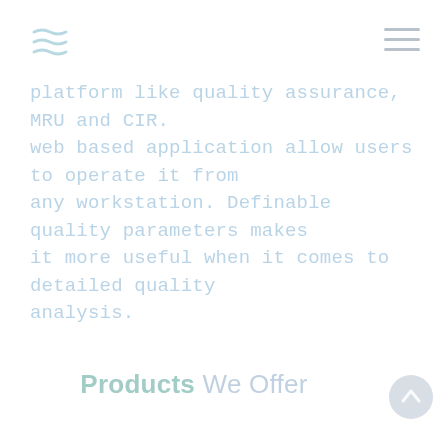[Figure (logo): Three wavy tilde lines stacked, forming a logo icon, top-left corner]
[Figure (illustration): Hamburger menu icon (three horizontal lines) in top-right corner]
platform like quality assurance, MRU and CIR. web based application allow users to operate it from any workstation. Definable quality parameters makes it more useful when it comes to detailed quality analysis.
Products We Offer
[Figure (illustration): Circular scroll-to-top button with upward arrow, bottom-right corner]